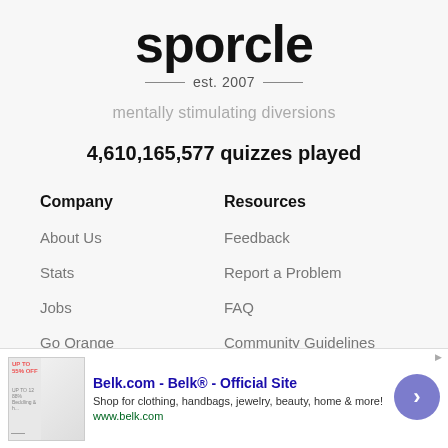sporcle
est. 2007
mentally stimulating diversions
4,610,165,577 quizzes played
Company
Resources
About Us
Feedback
Stats
Report a Problem
Jobs
FAQ
Go Orange
Community Guidelines
[Figure (screenshot): Advertisement banner for Belk.com showing shopping ad with title 'Belk.com - Belk® - Official Site', description 'Shop for clothing, handbags, jewelry, beauty, home & more!', URL www.belk.com, with close button and navigation arrow]